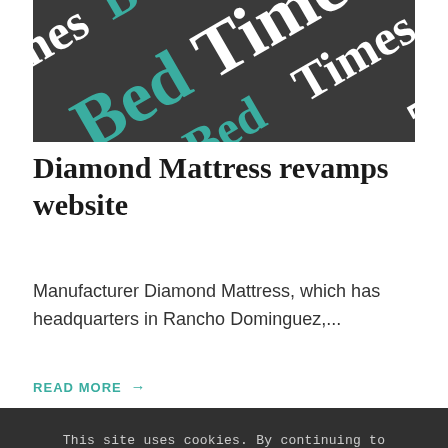[Figure (illustration): BedTimes magazine watermark pattern on dark grey background, repeated diagonally with 'Bed' in teal and 'Times' in white serif font]
Diamond Mattress revamps website
Manufacturer Diamond Mattress, which has headquarters in Rancho Dominguez,...
READ MORE →
This site uses cookies. By continuing to browse the site, you are agreeing to our use of cookies.
OK   LEARN MORE